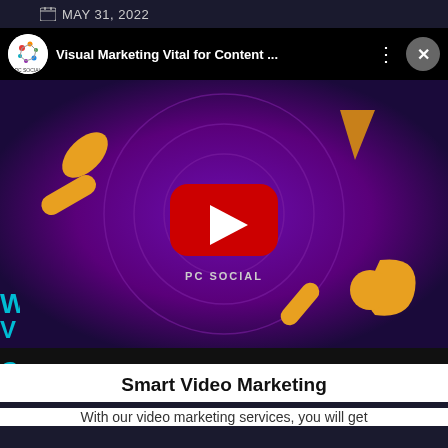MAY 31, 2022
[Figure (screenshot): YouTube video player overlay showing 'Visual Marketing Vital for Content ...' by PC SOCIAL with a play button on a purple background with 3D geometric shapes]
Smart Video Marketing
With our video marketing services, you will get